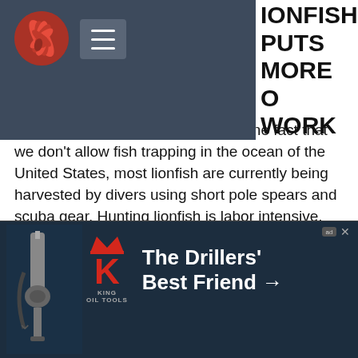LIONFISH PUTS MORE TO WORK
are rarely caught on hook and line, he fact that we don't allow fish trapping in the ocean of the United States, most lionfish are currently being harvested by divers using short pole spears and scuba gear. Hunting lionfish is labor intensive, and there is no such thing as large commercial vessels scooping up heavy quantities of lionfish such as is done with many other species. While many lionfish are harvested as bycatch in lobster traps, the vast majority of commercially harvested lionfish come from individual divers out supplementing their income. Florida has made it very easy for recreational [divers] to hunt and sell their lionfish with a simple $50…
[Figure (screenshot): Advertisement banner for King Oil Tools - The Drillers' Best Friend with red K logo and drilling equipment image]